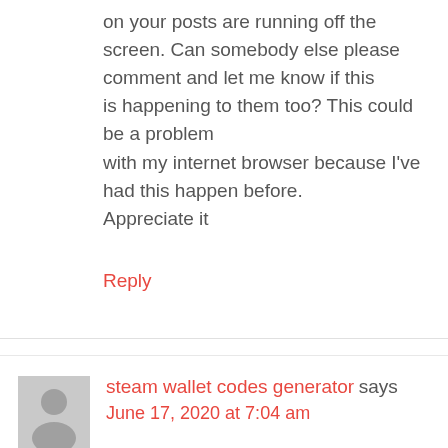on your posts are running off the screen. Can somebody else please comment and let me know if this is happening to them too? This could be a problem with my internet browser because I've had this happen before. Appreciate it
Reply
steam wallet codes generator says
June 17, 2020 at 7:04 am
I know this web site provides quality based